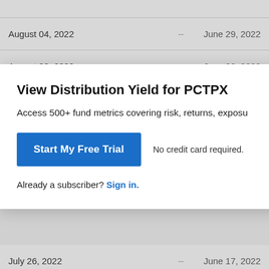| Date |  | Record Date |
| --- | --- | --- |
| August 04, 2022 | -- | June 29, 2022 |
| August 03, 2022 | -- | June 28, 2022 |
| July 26, 2022 | -- | June 17, 2022 |
| July 25, 2022 | -- | June 16, 2022 |
| July 22, 2022 | -- | June 15, 2022 |
| July 21, 2022 | -- | June 14, 2022 |
View Distribution Yield for PCTPX
Access 500+ fund metrics covering risk, returns, expos…
Start My Free Trial
No credit card required.
Already a subscriber? Sign in.